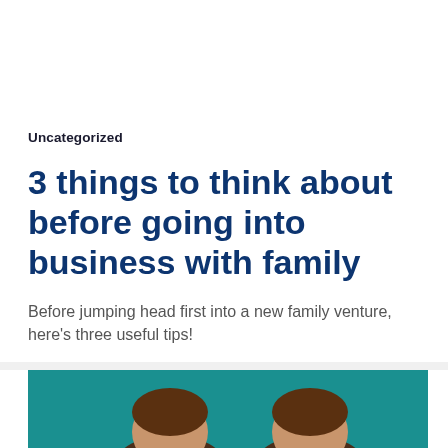Uncategorized
3 things to think about before going into business with family
Before jumping head first into a new family venture, here's three useful tips!
[Figure (illustration): Illustration of two cartoon people against a teal/dark cyan background, showing upper portions of their heads with brown hair]